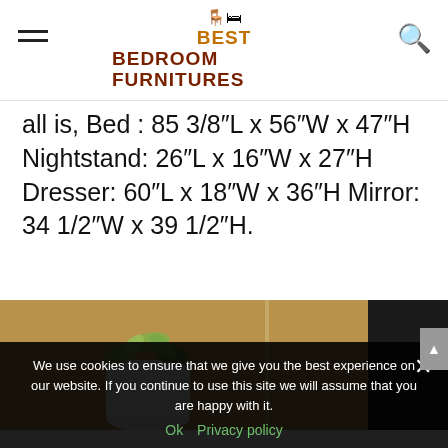Best Bedroom Furnitures
all is, Bed : 85 3/8"L x 56"W x 47"H Nightstand: 26"L x 16"W x 27"H Dresser: 60"L x 18"W x 36"H Mirror: 34 1/2"W x 39 1/2"H.
[Figure (photo): Photo of a nightstand or dresser surface with a white plant pot containing a green plant and a dark red decorative apple-shaped object, against a warm brown/tan background.]
We use cookies to ensure that we give you the best experience on our website. If you continue to use this site we will assume that you are happy with it. Ok  Privacy policy